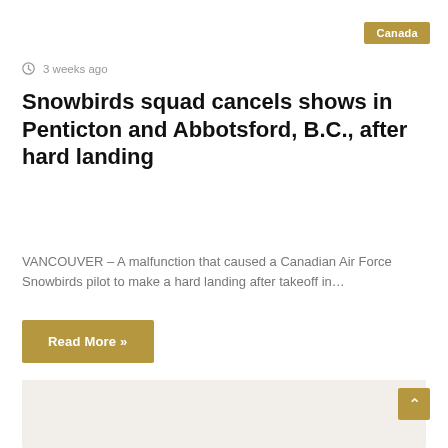Canada
3 weeks ago
Snowbirds squad cancels shows in Penticton and Abbotsford, B.C., after hard landing
VANCOUVER – A malfunction that caused a Canadian Air Force Snowbirds pilot to make a hard landing after takeoff in…
Read More »
[Figure (other): Placeholder image area with light beige background]